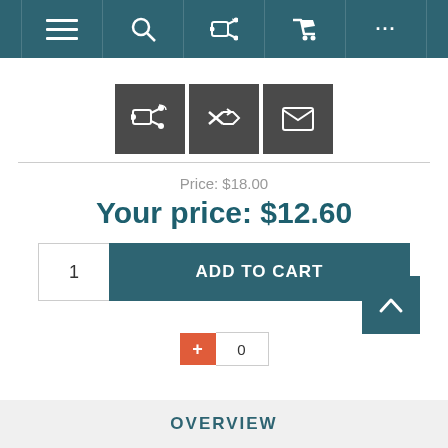Navigation bar with menu, search, compare, cart, and more icons
[Figure (screenshot): Three dark grey icon buttons: add to compare, shuffle/compare, and email]
Price: $18.00
Your price: $12.60
1  ADD TO CART
+ 0
OVERVIEW